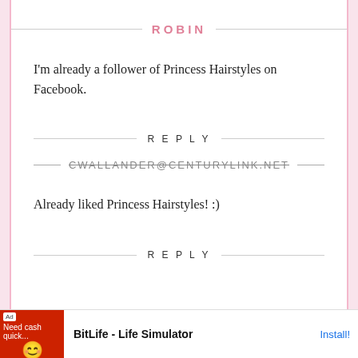ROBIN
I'm already a follower of Princess Hairstyles on Facebook.
REPLY
CWALLANDER@CENTURYLINK.NET
Already liked Princess Hairstyles! :)
REPLY
[Figure (screenshot): Ad banner for BitLife - Life Simulator showing red background with smiley face icon, Ad badge, and Install button]